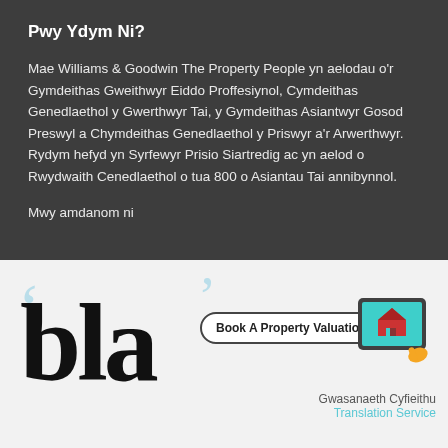Pwy Ydym Ni?
Mae Williams & Goodwin The Property People yn aelodau o'r Gymdeithas Gweithwyr Eiddo Proffesiynol, Cymdeithas Genedlaethol y Gwerthwyr Tai, y Gymdeithas Asiantwyr Gosod Preswyl a Chymdeithas Genedlaethol y Priswyr a'r Arwerthwyr. Rydym hefyd yn Syrfewyr Prisio Siartredig ac yn aelod o Rwydwaith Cenedlaethol o tua 800 o Asiantau Tai annibynnol.
Mwy amdanom ni
[Figure (illustration): Bottom banner with handwritten-style 'bla' text in large script, decorative blue quotation marks, a 'Book A Property Valuation' button, a tablet/house icon, and text 'Gwasanaeth Cyfieithu Translation Service' in the bottom right.]